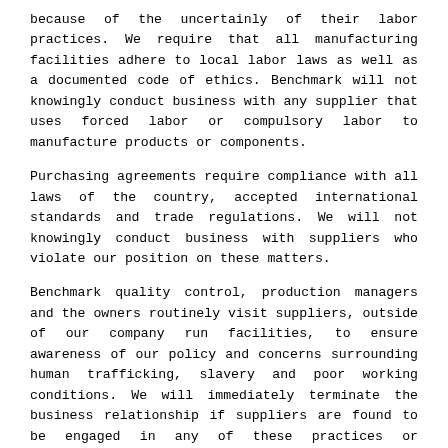because of the uncertainly of their labor practices. We require that all manufacturing facilities adhere to local labor laws as well as a documented code of ethics. Benchmark will not knowingly conduct business with any supplier that uses forced labor or compulsory labor to manufacture products or components.
Purchasing agreements require compliance with all laws of the country, accepted international standards and trade regulations. We will not knowingly conduct business with suppliers who violate our position on these matters.
Benchmark quality control, production managers and the owners routinely visit suppliers, outside of our company run facilities, to ensure awareness of our policy and concerns surrounding human trafficking, slavery and poor working conditions. We will immediately terminate the business relationship if suppliers are found to be engaged in any of these practices or activities.